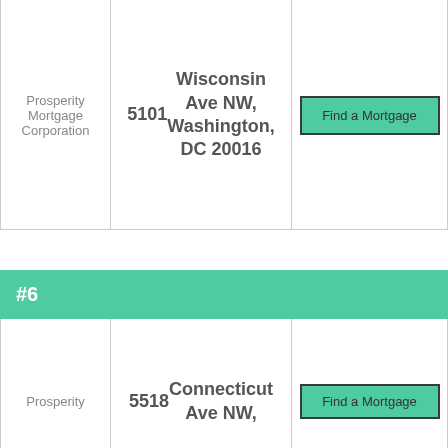| Name | Address | Action |
| --- | --- | --- |
| Prosperity Mortgage Corporation | 5101 Wisconsin Ave NW, Washington, DC 20016 | Find a Mortgage |
#6
| Name | Address | Action |
| --- | --- | --- |
| Prosperity | 5518 Connecticut Ave NW, | Find a Mortgage |